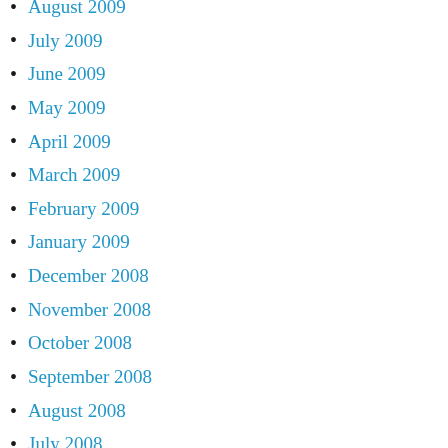August 2009
July 2009
June 2009
May 2009
April 2009
March 2009
February 2009
January 2009
December 2008
November 2008
October 2008
September 2008
August 2008
July 2008
June 2008
May 2008
April 2008